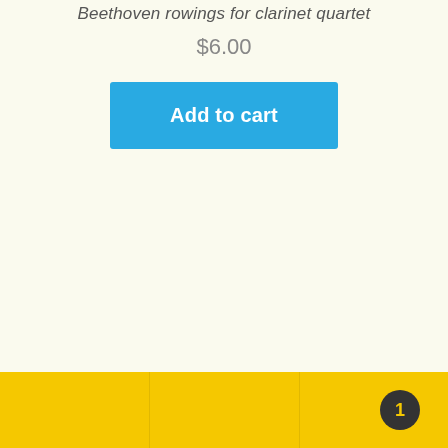Beethoven rowings for clarinet quartet
$6.00
Add to cart
1